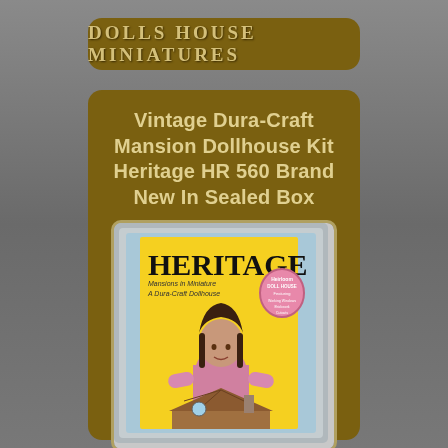Dolls House Miniatures
Vintage Dura-Craft Mansion Dollhouse Kit Heritage HR 560 Brand New In Sealed Box
[Figure (photo): Product box of Heritage Mansions in Miniature A Dura-Craft Dollhouse kit, yellow box showing a girl with the dollhouse, pink badge on the right side]